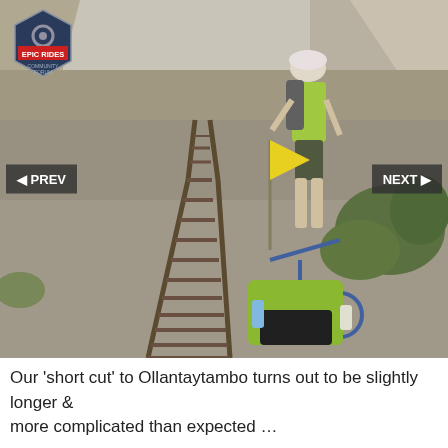[Figure (photo): A cyclist standing on railway tracks next to a bicycle with a trailer loaded with gear and a yellow flag, in a mountainous rocky landscape. The person is wearing a green shirt, shorts, helmet, and backpack. Rocky cliffs and shrubs visible in background.]
Our 'short cut' to Ollantaytambo turns out to be slightly longer & more complicated than expected …